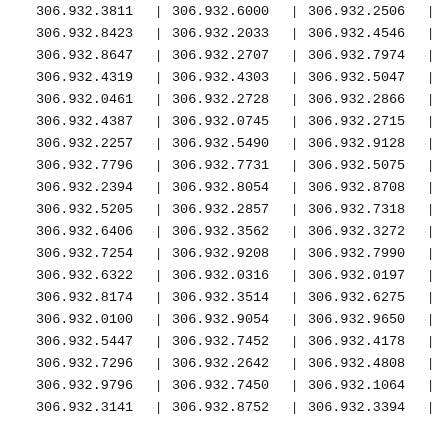| 306.932.3811 | | | 306.932.6000 | | | 306.932.2506 | | |
| 306.932.8423 | | | 306.932.2033 | | | 306.932.4546 | | |
| 306.932.8647 | | | 306.932.2707 | | | 306.932.7974 | | |
| 306.932.4319 | | | 306.932.4303 | | | 306.932.5047 | | |
| 306.932.0461 | | | 306.932.2728 | | | 306.932.2866 | | |
| 306.932.4387 | | | 306.932.0745 | | | 306.932.2715 | | |
| 306.932.2257 | | | 306.932.5490 | | | 306.932.9128 | | |
| 306.932.7796 | | | 306.932.7731 | | | 306.932.5075 | | |
| 306.932.2394 | | | 306.932.8054 | | | 306.932.8708 | | |
| 306.932.5205 | | | 306.932.2857 | | | 306.932.7318 | | |
| 306.932.6406 | | | 306.932.3562 | | | 306.932.3272 | | |
| 306.932.7254 | | | 306.932.9208 | | | 306.932.7990 | | |
| 306.932.6322 | | | 306.932.0316 | | | 306.932.0197 | | |
| 306.932.8174 | | | 306.932.3514 | | | 306.932.6275 | | |
| 306.932.0100 | | | 306.932.9054 | | | 306.932.9650 | | |
| 306.932.5447 | | | 306.932.7452 | | | 306.932.4178 | | |
| 306.932.7296 | | | 306.932.2642 | | | 306.932.4808 | | |
| 306.932.9796 | | | 306.932.7450 | | | 306.932.1064 | | |
| 306.932.3141 | | | 306.932.8752 | | | 306.932.3394 | | |